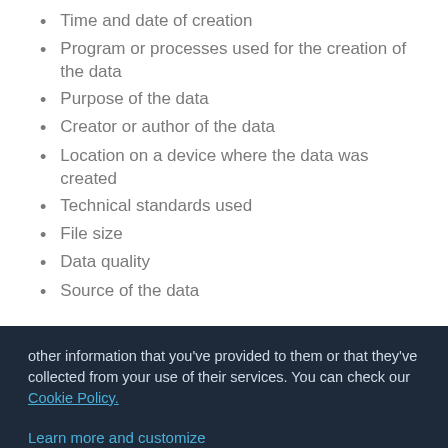Time and date of creation
Program or processes used for the creation of the data
Purpose of the data
Creator or author of the data
Location on a device where the data was created
Technical standards used
File size
Data quality
Source of the data
other information that you've provided to them or that they've collected from your use of their services. You can check our Cookie Policy.
Learn more and customize
Reject
Accept